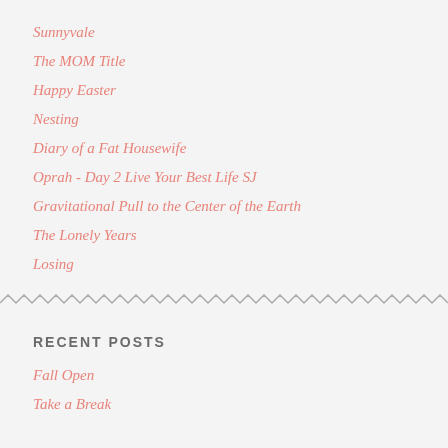Sunnyvale
The MOM Title
Happy Easter
Nesting
Diary of a Fat Housewife
Oprah - Day 2 Live Your Best Life SJ
Gravitational Pull to the Center of the Earth
The Lonely Years
Losing
RECENT POSTS
Fall Open
Take a Break